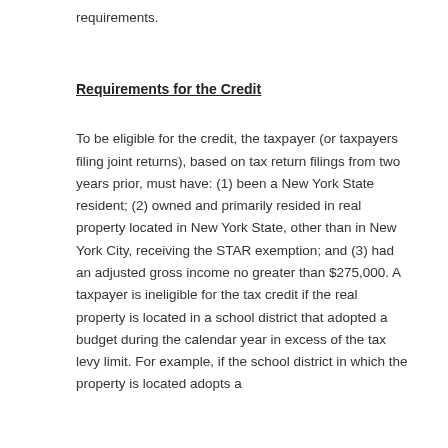requirements.
Requirements for the Credit
To be eligible for the credit, the taxpayer (or taxpayers filing joint returns), based on tax return filings from two years prior, must have: (1) been a New York State resident; (2) owned and primarily resided in real property located in New York State, other than in New York City, receiving the STAR exemption; and (3) had an adjusted gross income no greater than $275,000. A taxpayer is ineligible for the tax credit if the real property is located in a school district that adopted a budget during the calendar year in excess of the tax levy limit. For example, if the school district in which the property is located adopts a